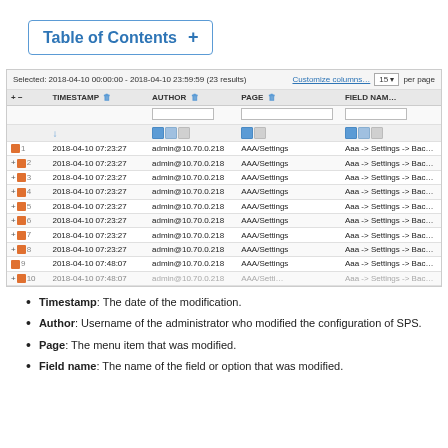Table of Contents +
[Figure (screenshot): Audit log table screenshot showing columns TIMESTAMP, AUTHOR, PAGE, FIELD NAME with rows of data dated 2018-04-10, author admin@10.70.0.218, page AAA/Settings. Top bar shows 'Selected: 2018-04-10 00:00:00 - 2018-04-10 23:59:59 (23 results)', Customize columns link, and 15 per page selector.]
Timestamp: The date of the modification.
Author: Username of the administrator who modified the configuration of SPS.
Page: The menu item that was modified.
Field name: The name of the field or option that was modified.